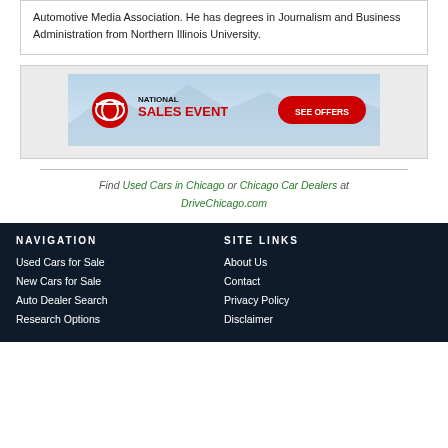Automotive Media Association. He has degrees in Journalism and Business Administration from Northern Illinois University.
[Figure (infographic): Toyota National Sales Event banner advertisement with red logo and 'SEE OFFERS' button on blue background]
Find Used Cars in Chicago or Chicago Car Dealers at DriveChicago.com
NAVIGATION
SITE LINKS
Used Cars for Sale
About Us
New Cars for Sale
Contact
Auto Dealer Search
Privacy Policy
Research Options
Disclaimer